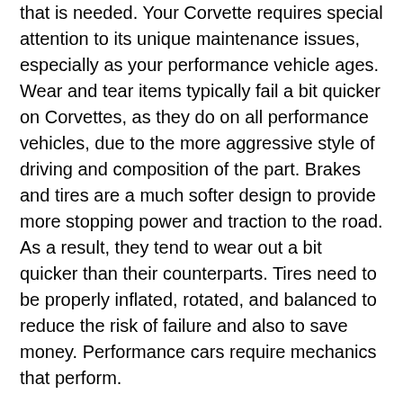that is needed. Your Corvette requires special attention to its unique maintenance issues, especially as your performance vehicle ages. Wear and tear items typically fail a bit quicker on Corvettes, as they do on all performance vehicles, due to the more aggressive style of driving and composition of the part. Brakes and tires are a much softer design to provide more stopping power and traction to the road. As a result, they tend to wear out a bit quicker than their counterparts. Tires need to be properly inflated, rotated, and balanced to reduce the risk of failure and also to save money. Performance cars require mechanics that perform.
At Weaver Transmission Service, Inc in Richmond our experienced technicians have the knowledge, passion, and diagnostic tools necessary to ensure that your Corvette receives the attention to detail that it deserves. Keep your Corvette running smoothly with Weaver Transmission Service, Inc on your side. Call or drop to talk about your performance Corvette today.